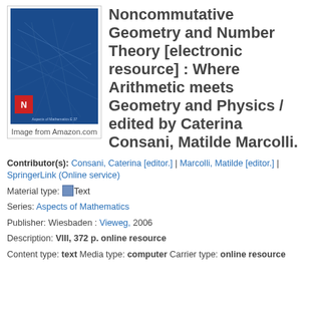[Figure (photo): Book cover image for Noncommutative Geometry and Number Theory with caption 'Image from Amazon.com']
Noncommutative Geometry and Number Theory [electronic resource] : Where Arithmetic meets Geometry and Physics / edited by Caterina Consani, Matilde Marcolli.
Contributor(s): Consani, Caterina [editor.] | Marcolli, Matilde [editor.] | SpringerLink (Online service)
Material type: Text
Series: Aspects of Mathematics
Publisher: Wiesbaden : Vieweg, 2006
Description: VIII, 372 p. online resource
Content type: text Media type: computer Carrier type: online resource